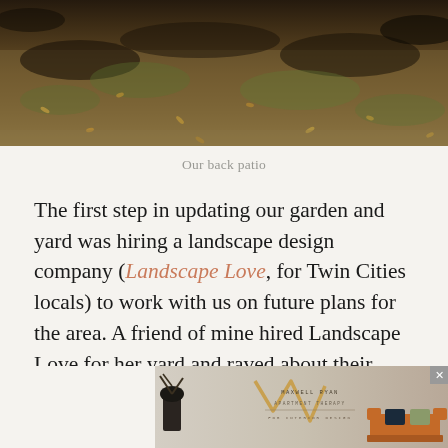[Figure (photo): Close-up photo of a backyard patio area with dry, brown-green sparse grass and scattered dead leaves on soil]
Our back patio
The first step in updating our garden and yard was hiring a landscape design company (Landscape Love, for Twin Cities locals) to work with us on future plans for the area. A friend of mine hired Landscape Love for her yard and raved about their design capabilities. We first met with them last month and they'll bring us plans to review in June. We'll then have a [obscured by ad] imple[mented] [obscured] of